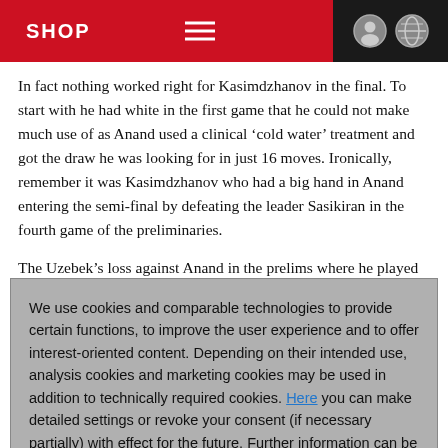SHOP
In fact nothing worked right for Kasimdzhanov in the final. To start with he had white in the first game that he could not make much use of as Anand used a clinical ‘cold water’ treatment and got the draw he was looking for in just 16 moves. Ironically, remember it was Kasimdzhanov who had a big hand in Anand entering the semi-final by defeating the leader Sasikiran in the fourth game of the preliminaries.
The Uzebek’s loss against Anand in the prelims where he played black and failed to come up with best defence against a novelty in the Sveshnikov prompted the Petroff on the final-day but did not held him in good stead. Anand outplayed Kasimdzhanov in all
We use cookies and comparable technologies to provide certain functions, to improve the user experience and to offer interest-oriented content. Depending on their intended use, analysis cookies and marketing cookies may be used in addition to technically required cookies. Here you can make detailed settings or revoke your consent (if necessary partially) with effect for the future. Further information can be found in our data protection declaration.